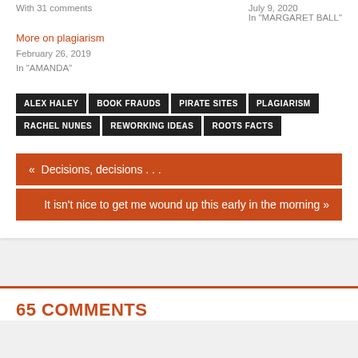With 31 comments
July 9, 2020
In "MARGARET BALL"
More on plagiarism
February 26, 2019
In "AMANDA"
ALEX HALEY
BOOK FRAUDS
PIRATE SITES
PLAGIARISM
RACHEL NUNES
REWORKING IDEAS
ROOTS FACTS
« Decisions, decisions . . .
It isn't nice to get me wound up this early in the morning »
65 COMMENTS